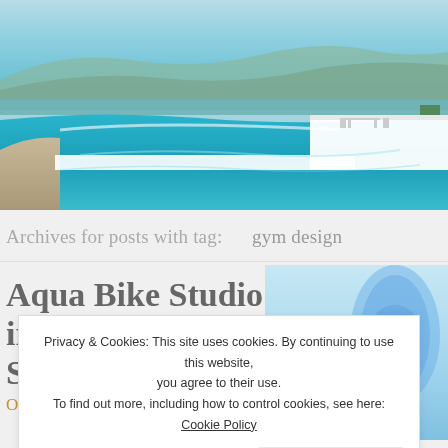[Figure (photo): Infinity pool with turquoise water overlooking the sea, cliffside location, outdoor terrace with furniture visible]
Archives for posts with tag:    gym design
Aqua Bike Studio in Barcelona, Spain
October 29, 2017 //   2
[Figure (photo): Blurred photo showing a modern building facade against blue sky]
Privacy & Cookies: This site uses cookies. By continuing to use this website, you agree to their use.
To find out more, including how to control cookies, see here: Cookie Policy
Close and accept